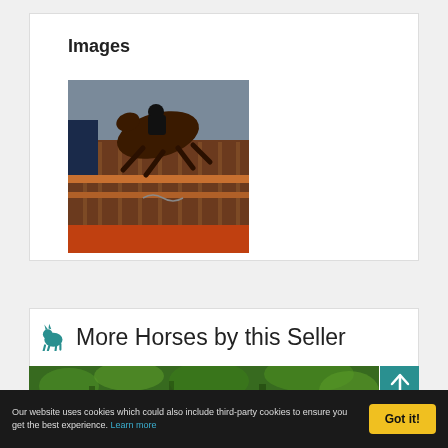Images
[Figure (photo): A horse and rider jumping over a wooden show-jumping fence indoors]
More Horses by this Seller
[Figure (photo): A horse outdoors surrounded by green foliage]
Our website uses cookies which could also include third-party cookies to ensure you get the best experience. Learn more
Got it!